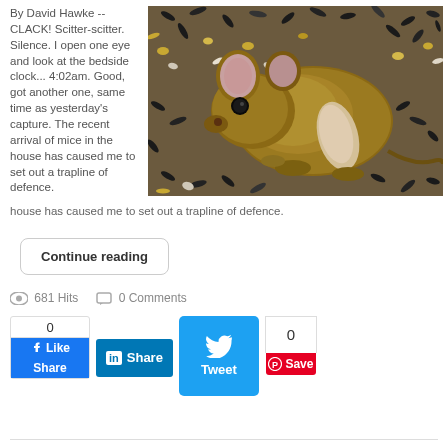By David Hawke -- CLACK! Scitter-scitter. Silence. I open one eye and look at the bedside clock... 4:02am. Good, got another one, same time as yesterday's capture. The recent arrival of mice in the house has caused me to set out a trapline of defence.
[Figure (photo): Close-up photo of a brown mouse sitting among sunflower seeds and birdseed mix]
Continue reading
681 Hits   0 Comments
[Figure (screenshot): Social media sharing buttons: Facebook Like/Share, LinkedIn Share, Twitter Tweet, Pinterest Save with counts 0, 0]